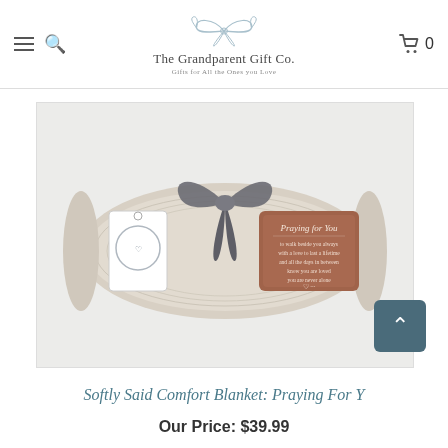[Figure (logo): The Grandparent Gift Co. logo with decorative ribbon bow above the text, and tagline 'Gifts for All the Ones you Love']
[Figure (photo): A rolled soft gray/beige comfort blanket tied with a dark gray bow ribbon, with a branded hang tag on the left and a brown leather-look patch on the right that reads 'Praying for You' with text and a heart logo]
Softly Said Comfort Blanket: Praying For Y
Our Price: $39.99